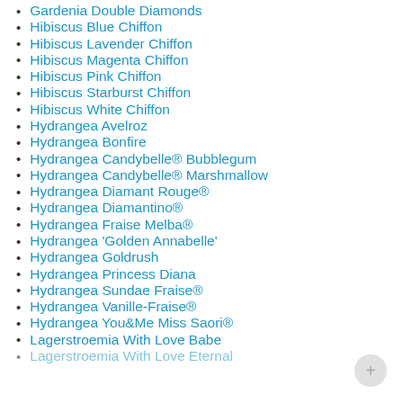Gardenia Double Diamonds
Hibiscus Blue Chiffon
Hibiscus Lavender Chiffon
Hibiscus Magenta Chiffon
Hibiscus Pink Chiffon
Hibiscus Starburst Chiffon
Hibiscus White Chiffon
Hydrangea Avelroz
Hydrangea Bonfire
Hydrangea Candybelle® Bubblegum
Hydrangea Candybelle® Marshmallow
Hydrangea Diamant Rouge®
Hydrangea Diamantino®
Hydrangea Fraise Melba®
Hydrangea 'Golden Annabelle'
Hydrangea Goldrush
Hydrangea Princess Diana
Hydrangea Sundae Fraise®
Hydrangea Vanille-Fraise®
Hydrangea You&Me Miss Saori®
Lagerstroemia With Love Babe
Lagerstroemia With Love Eternal